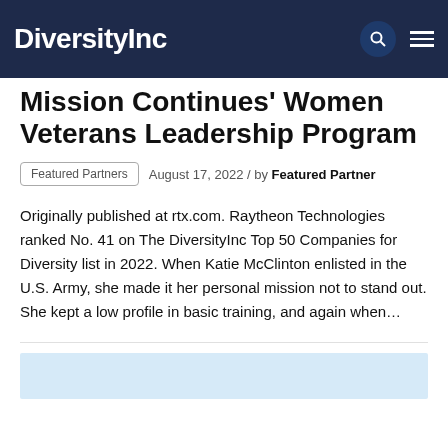DiversityInc
Mission Continues' Women Veterans Leadership Program
Featured Partners   August 17, 2022 / by Featured Partner
Originally published at rtx.com. Raytheon Technologies ranked No. 41 on The DiversityInc Top 50 Companies for Diversity list in 2022. When Katie McClinton enlisted in the U.S. Army, she made it her personal mission not to stand out. She kept a low profile in basic training, and again when…